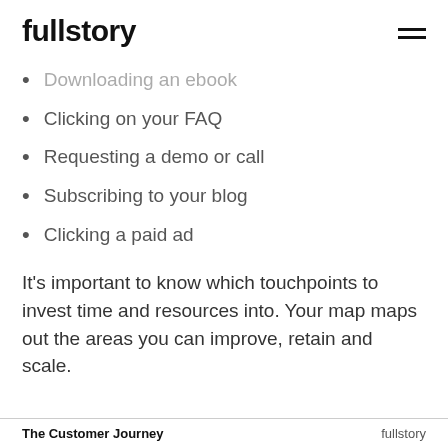fullstory
Downloading an ebook
Clicking on your FAQ
Requesting a demo or call
Subscribing to your blog
Clicking a paid ad
It's important to know which touchpoints to invest time and resources into. Your map maps out the areas you can improve, retain and scale.
The Customer Journey    fullstory